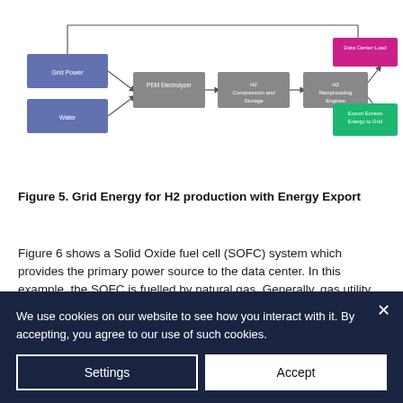[Figure (flowchart): Flowchart showing Grid Energy for H2 production with Energy Export. Grid Power and Water feed into PEM Electrolyzer, then H2 Compression and Storage, then H2 Reciprocating Engines, which outputs to Data Center Load (magenta box) and Export Excess Energy to Grid (green box). A line also connects from the top back from Data Center Load area.]
Figure 5. Grid Energy for H2 production with Energy Export
Figure 6 shows a Solid Oxide fuel cell (SOFC) system which provides the primary power source to the data center. In this example, the SOFC is fuelled by natural gas. Generally, gas utility supplies are meshed networks and are more reliable than utility power. Any excess power generated by the SOFC is exported to the